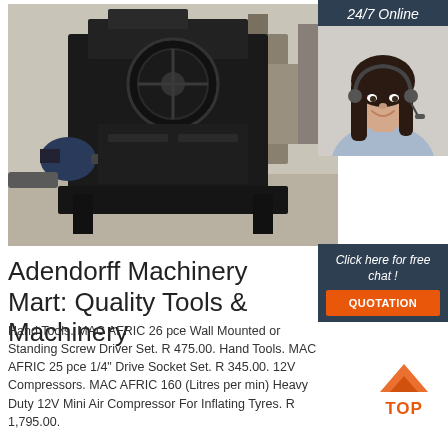[Figure (photo): Large black industrial machinery (possibly a hammer mill or crusher) in an outdoor factory/warehouse setting with concrete floor and other equipment visible in background.]
[Figure (photo): 24/7 Online customer service agent — woman with headset smiling, wearing light blue shirt, dark hair.]
Adendorff Machinery Mart: Quality Tools & Machinery
Click here for free chat !
QUOTATION
Hand Tools. MAC AFRIC 26 pce Wall Mounted or Standing Screw Driver Set. R 475.00. Hand Tools. MAC AFRIC 25 pce 1/4” Drive Socket Set. R 345.00. 12V Compressors. MAC AFRIC 160 (Litres per min) Heavy Duty 12V Mini Air Compressor For Inflating Tyres. R 1,795.00.
[Figure (logo): TOP logo — orange triangular mountain icon above orange text TOP]